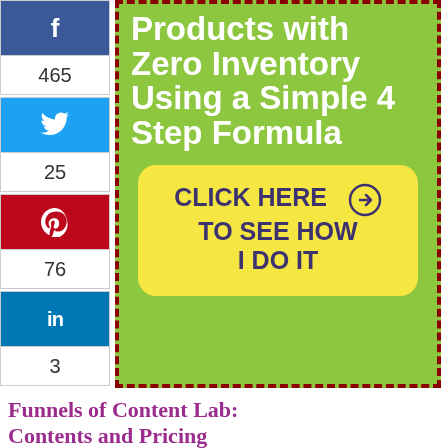[Figure (infographic): Social share sidebar with Facebook (465), Twitter (25), Pinterest (76), LinkedIn (3) buttons]
[Figure (infographic): Green banner advertisement: 'Products with Zero Inventory Using a Simple 4 Step Formula' with yellow CTA button 'CLICK HERE → TO SEE HOW I DO IT']
Funnels of Content Lab: Contents and Pricing